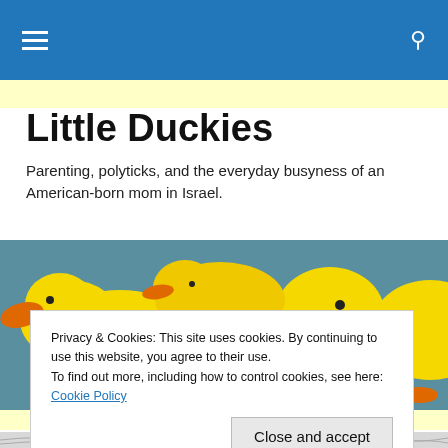Little Duckies – navigation bar with menu and search icons
Little Duckies
Parenting, polyticks, and the everyday busyness of an American-born mom in Israel.
[Figure (photo): Photo of several yellow plush rubber duck stuffed animals arranged together on a teal background, viewed from the side showing orange beaks and feet.]
Privacy & Cookies: This site uses cookies. By continuing to use this website, you agree to their use.
To find out more, including how to control cookies, see here: Cookie Policy
[Figure (map): Partial view of a geographic map showing latitude lines at 30° and 0°]